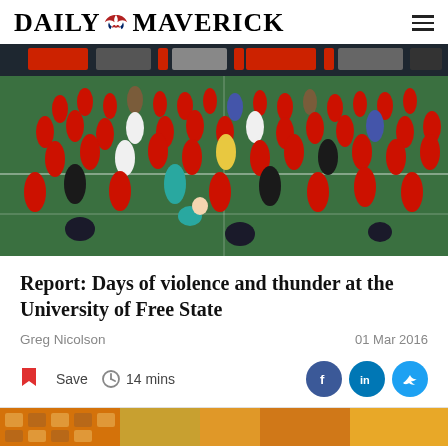DAILY MAVERICK
[Figure (photo): Crowd of people, many wearing red shirts, on a green sports field. Appears to show a post-match pitch invasion or disorder at a rugby/sports stadium.]
Report: Days of violence and thunder at the University of Free State
Greg Nicolson
01 Mar 2016
Save  14 mins